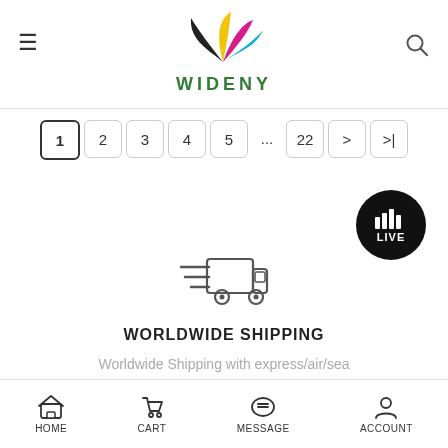[Figure (logo): Wideny logo with colorful leaf/feather shapes (yellow, pink/magenta, black, cyan) above the text WIDENY in green bold letters]
[Figure (infographic): Pagination bar with buttons: 1 (active/outlined), 2, 3, 4, 5, ..., 22, >, >|]
[Figure (infographic): Black circular LIVE button with bar chart icon and LIVE text]
[Figure (illustration): Delivery truck icon with speed lines, outline style]
WORLDWIDE SHIPPING
Worldwide Shipping with express/air/sea
[Figure (infographic): Bottom navigation bar with HOME, CART, MESSAGE, ACCOUNT icons]